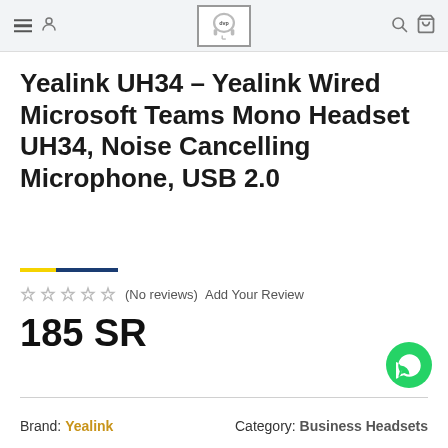Navigation header with menu, logo, search and cart icons
Yealink UH34 - Yealink Wired Microsoft Teams Mono Headset UH34, Noise Cancelling Microphone, USB 2.0
(No reviews)  Add Your Review
185 SR
Brand: Yealink    Category: Business Headsets